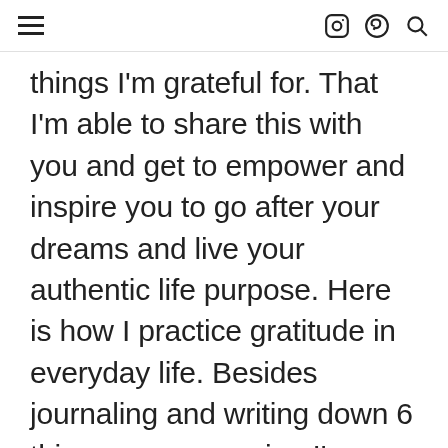≡  [instagram] [pinterest] [search]
things I'm grateful for. That I'm able to share this with you and get to empower and inspire you to go after your dreams and live your authentic life purpose. Here is how I practice gratitude in everyday life. Besides journaling and writing down 6 things every morning I'm grateful for, I take conscious time during the day to be grateful for the things around me. Right now, I'm in the library writing this and as I look around, I'm grateful for my laptop, my water bottle (that I have something to drink), all the books